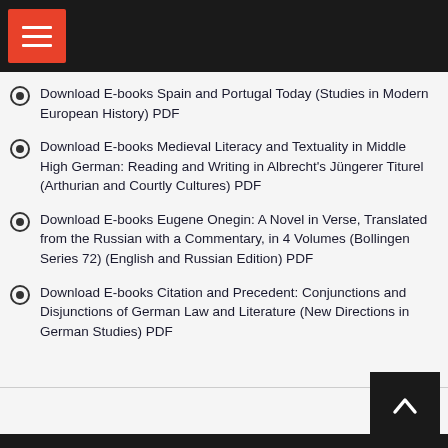Navigation menu header bar
Download E-books Spain and Portugal Today (Studies in Modern European History) PDF
Download E-books Medieval Literacy and Textuality in Middle High German: Reading and Writing in Albrecht's Jüngerer Titurel (Arthurian and Courtly Cultures) PDF
Download E-books Eugene Onegin: A Novel in Verse, Translated from the Russian with a Commentary, in 4 Volumes (Bollingen Series 72) (English and Russian Edition) PDF
Download E-books Citation and Precedent: Conjunctions and Disjunctions of German Law and Literature (New Directions in German Studies) PDF
Back to top